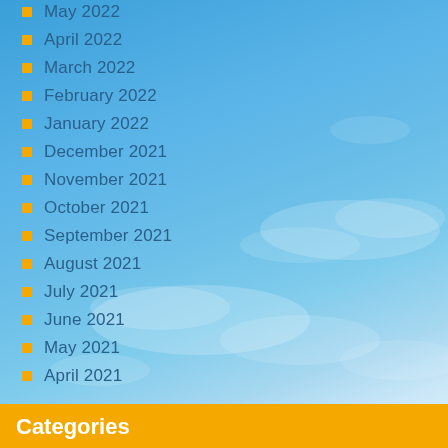May 2022
April 2022
March 2022
February 2022
January 2022
December 2021
November 2021
October 2021
September 2021
August 2021
July 2021
June 2021
May 2021
April 2021
Categories